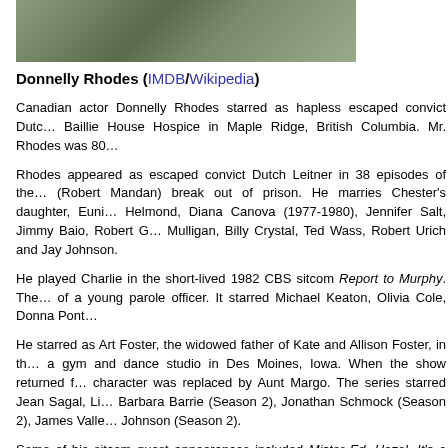[Figure (photo): Partial photo of Donnelly Rhodes, cropped showing upper body]
Donnelly Rhodes (IMDB/Wikipedia)
Canadian actor Donnelly Rhodes starred as hapless escaped convict Dutch... Baillie House Hospice in Maple Ridge, British Columbia. Mr. Rhodes was 80...
Rhodes appeared as escaped convict Dutch Leitner in 38 episodes of the... (Robert Mandan) break out of prison. He marries Chester's daughter, Euni... Helmond, Diana Canova (1977-1980), Jennifer Salt, Jimmy Baio, Robert G... Mulligan, Billy Crystal, Ted Wass, Robert Urich and Jay Johnson.
He played Charlie in the short-lived 1982 CBS sitcom Report to Murphy. The... of a young parole officer. It starred Michael Keaton, Olivia Cole, Donna Pont...
He starred as Art Foster, the widowed father of Kate and Allison Foster, in th... a gym and dance studio in Des Moines, Iowa. When the show returned f... character was replaced by Aunt Margo. The series starred Jean Sagal, Li... Barbara Barrie (Season 2), Jonathan Schmock (Season 2), James Valle... Johnson (Season 2).
Some of his sitcom guest appearances included Mister Ed, Hazel, It's a Livi... Alice, The Golden Girls, Empty Nest and Baby Talk.
Rhodes was well known to Canadian audiences for his roles as Sgt Nick Ra... "Doc" Roberts in Danger Bay (1985-1990).
He appeared as Leo Shannon in 91 episodes of Da Vinci's Inquest from 199... Medical Officer of BS Galactica, in 36 episodes of Battlestar Galactica from 2...